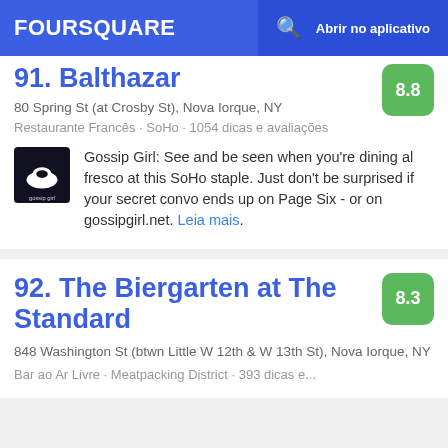FOURSQUARE  Abrir no aplicativo
91. Balthazar
80 Spring St (at Crosby St), Nova Iorque, NY
Restaurante Francês · SoHo · 1054 dicas e avaliações
Gossip Girl: See and be seen when you're dining al fresco at this SoHo staple. Just don't be surprised if your secret convo ends up on Page Six - or on gossipgirl.net. Leia mais.
92. The Biergarten at The Standard
848 Washington St (btwn Little W 12th & W 13th St), Nova Iorque, NY
Bar ao Ar Livre · Meatpacking District · 393 dicas e...